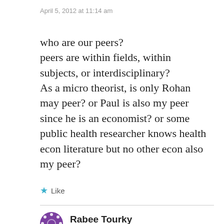April 5, 2012 at 11:14 am
who are our peers?
peers are within fields, within subjects, or interdisciplinary?
As a micro theorist, is only Rohan may peer? or Paul is also my peer since he is an economist? or some public health researcher knows health econ literature but no other econ also my peer?
Like
Rabee Tourky
April 5, 2012 at 4:21 pm